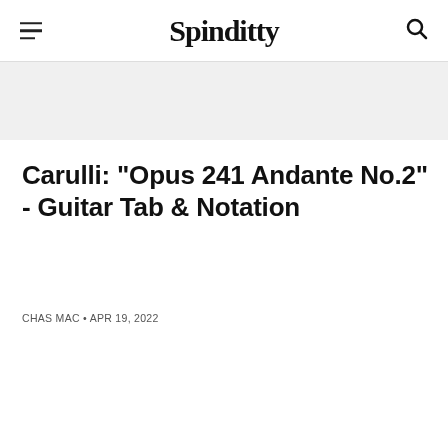Spinditty
Carulli: "Opus 241 Andante No.2" - Guitar Tab & Notation
CHAS MAC • APR 19, 2022